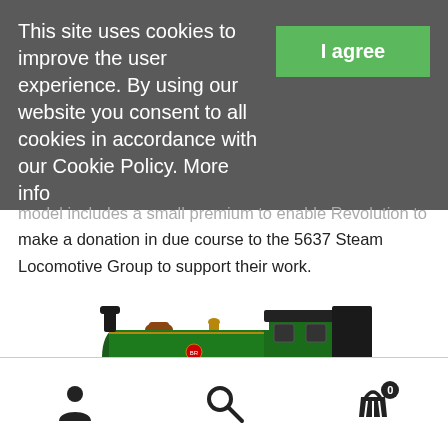This site uses cookies to improve the user experience. By using our website you consent to all cookies in accordance with our Cookie Policy. More info
model includes a small premium to enable Revolution to make a donation in due course to the 5637 Steam Locomotive Group to support their work.
[Figure (illustration): Side-view illustration of a dark green British Railways steam tank locomotive (GWR pannier or prairie type), rendered digitally with detailed mechanical components including wheels, boiler, cab, and buffers.]
S2101-02
[Figure (other): Footer navigation bar with three icons: a person/user icon on the left, a magnifying glass/search icon in the center, and a shopping basket with badge showing '0' on the right.]